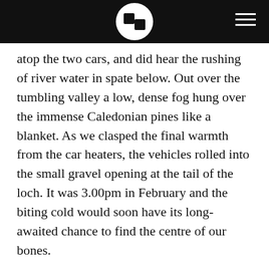SS [logo] [hamburger menu]
atop the two cars, and did hear the rushing of river water in spate below. Out over the tumbling valley a low, dense fog hung over the immense Caledonian pines like a blanket. As we clasped the final warmth from the car heaters, the vehicles rolled into the small gravel opening at the tail of the loch. It was 3.00pm in February and the biting cold would soon have its long-awaited chance to find the centre of our bones.
A dam towered like a fortress 100m to our left through the trees. The waters of the loch were mirror still and black as the night that would soon follow. Crows called from treetops. A dusting of snow clung to distant summits. The low fog we'd